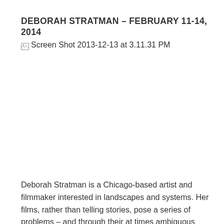DEBORAH STRATMAN – FEBRUARY 11-14, 2014
[Figure (screenshot): Broken image placeholder with alt text: Screen Shot 2013-12-13 at 3.11.31 PM]
Deborah Stratman is a Chicago-based artist and filmmaker interested in landscapes and systems. Her films, rather than telling stories, pose a series of problems – and through their at times ambiguous nature, allow for a complicated reading of the questions